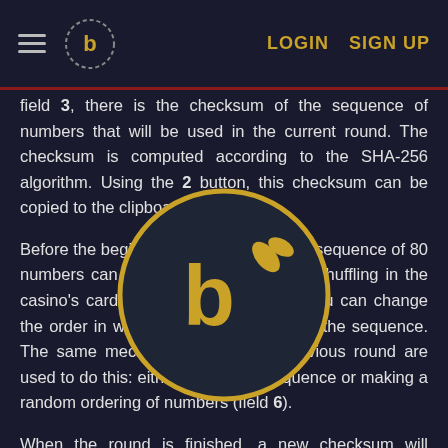LOGIN  SIGN UP
field 3, there is the checksum of the sequence of numbers that will be used in the current round. The checksum is computed according to the SHA-256 algorithm. Using the 2 button, this checksum can be copied to the clipboard.
Before the beginning of each round, the sequence of 80 numbers can be modified, just like the shuffling in the casino's card games. In other words, you can change the order in which numbers are used in the sequence. The same mechanisms as in the previous round are used to do this: either cutting the sequence or making a random ordering of numbers (field 6).
[Figure (logo): Circular logo with dark background and golden symbol resembling the letter b with an arrow/leaf element]
When the round is finished, a new checksum will appear in field 3. This checksum corresponds to the new sequence that will be used in the next round. At that point the player can check the results of the just finished round by pressing the 4 button. A new window will then open where the player will see the previous checksum as well as all the information about the initial sequence that was used in